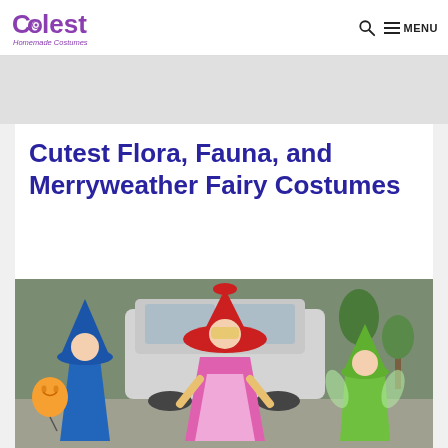Coolest Homemade Costumes — MENU
Cutest Flora, Fauna, and Merryweather Fairy Costumes
[Figure (photo): Three young girls dressed as Flora (blue fairy, tall pointed hat, blue cape, holding orange balloon), Fauna (pink fairy, red wide-brimmed hat, pink satin gown), and Merryweather (green fairy, green pointed hat, green cape) from Sleeping Beauty, standing in a parking lot in front of a white SUV.]